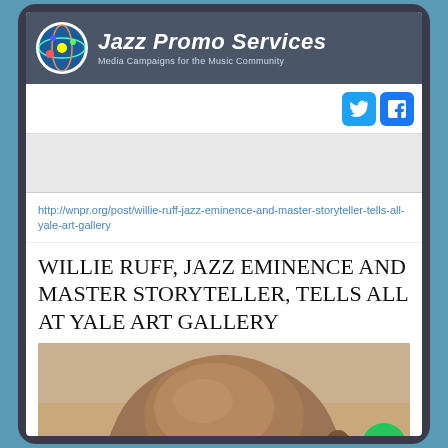Jazz Promo Services — Media Campaigns for the Music Community
[Figure (screenshot): Twitter and Facebook social media icons (blue bird and blue F)]
http://wnpr.org/post/willie-ruff-jazz-eminence-and-master-storyteller-tells-all-yale-art-gallery
WILLIE RUFF, JAZZ EMINENCE AND MASTER STORYTELLER, TELLS ALL AT YALE ART GALLERY
[Figure (photo): Close-up photo of a bald African American man, seen from above/behind at a slight angle, warm beige/tan background]